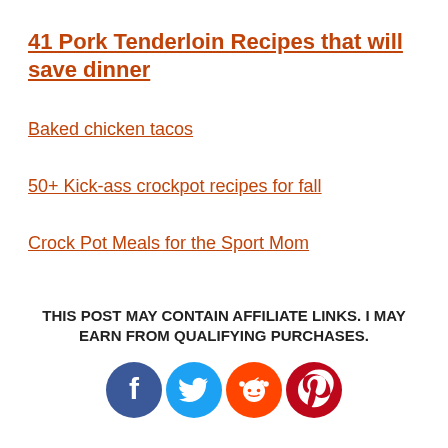41 Pork Tenderloin Recipes that will save dinner
Baked chicken tacos
50+ Kick-ass crockpot recipes for fall
Crock Pot Meals for the Sport Mom
THIS POST MAY CONTAIN AFFILIATE LINKS. I MAY EARN FROM QUALIFYING PURCHASES.
[Figure (infographic): Social media share icons: Facebook (blue), Twitter (light blue), Reddit (orange), Pinterest (dark red)]